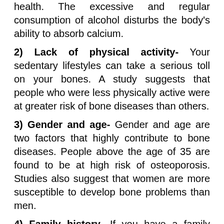health. The excessive and regular consumption of alcohol disturbs the body's ability to absorb calcium.
2) Lack of physical activity- Your sedentary lifestyles can take a serious toll on your bones. A study suggests that people who were less physically active were at greater risk of bone diseases than others.
3) Gender and age- Gender and age are two factors that highly contribute to bone diseases. People above the age of 35 are found to be at high risk of osteoporosis. Studies also suggest that women are more susceptible to develop bone problems than men.
4) Family history- If you have a family history of arthritis, osteoporosis, or bone cancer then you need to take good care of your bones as it may increase your chances of getting bone issues.
5) Poor nutrition- Bones are made up of minerals such as collagens and calcium. And with times these minerals decreases. People who lack a rich nutrients diet often suffer from these debilitating